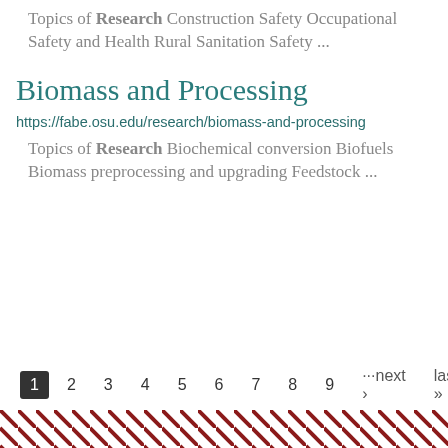Topics of Research Construction Safety Occupational Safety and Health Rural Sanitation Safety ...
Biomass and Processing
https://fabe.osu.edu/research/biomass-and-processing
Topics of Research Biochemical conversion Biofuels Biomass preprocessing and upgrading Feedstock ...
1 2 3 4 5 6 7 8 9 ···next › last »